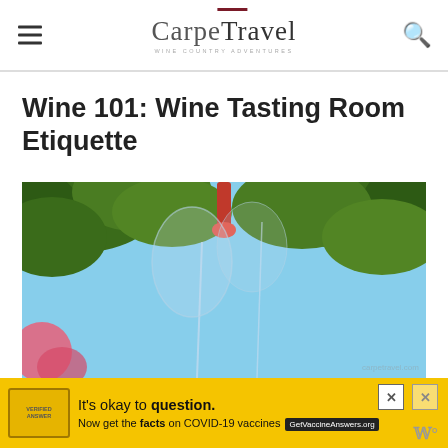CarpeTravel
Wine 101: Wine Tasting Room Etiquette
[Figure (photo): Outdoor wine tasting scene shot from below, showing wine glasses held up against blue sky with green tree foliage in background and red decorative elements]
[Figure (infographic): COVID-19 vaccine advertisement banner: 'It's okay to question. Now get the facts on COVID-19 vaccines - GetVaccineAnswers.org']